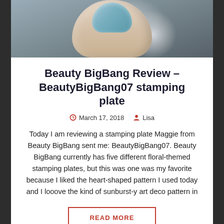[Figure (photo): Close-up photo of a finger with a light blue/teal nail, showing skin texture and wrinkles, cropped at top]
Beauty BigBang Review – BeautyBigBang07 stamping plate
March 17, 2018   Lisa
Today I am reviewing a stamping plate Maggie from Beauty BigBang sent me: BeautyBigBang07. Beauty BigBang currently has five different floral-themed stamping plates, but this was one was my favorite because I liked the heart-shaped pattern I used today and I looove the kind of sunburst-y art deco pattern in
READ MORE